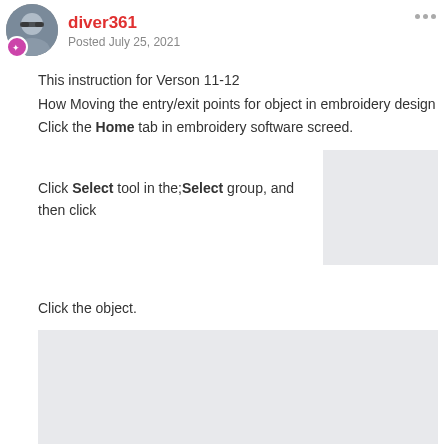diver361 - Posted July 25, 2021
This instruction for Verson 11-12
How Moving the entry/exit points for object in embroidery design
Click the Home tab in embroidery software screed.
Click Select tool in the;Select group, and then click
[Figure (screenshot): Small screenshot placeholder shown to the right of the Select tool instruction text]
Click the object.
[Figure (screenshot): Large screenshot placeholder showing embroidery software interface]